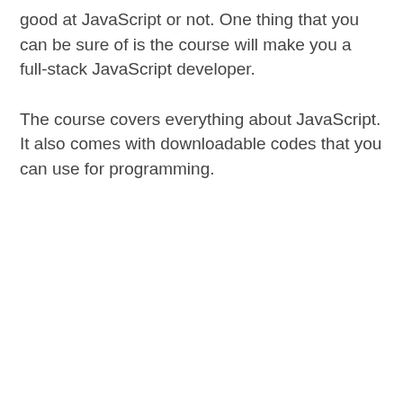good at JavaScript or not. One thing that you can be sure of is the course will make you a full-stack JavaScript developer.
The course covers everything about JavaScript. It also comes with downloadable codes that you can use for programming.